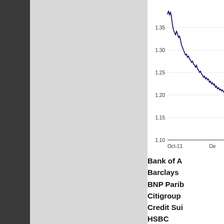[Figure (continuous-plot): Partial line chart showing a downward trending line from approximately 1.38 to 1.28, with y-axis labels 1.10, 1.15, 1.20, 1.25, 1.30, 1.35 and x-axis labels Oct-11 and De (December, truncated). The line is dark navy blue on a white background.]
Bank of A
Barclays
BNP Parib
Citigroup
Credit Sui
HSBC
JP Morga